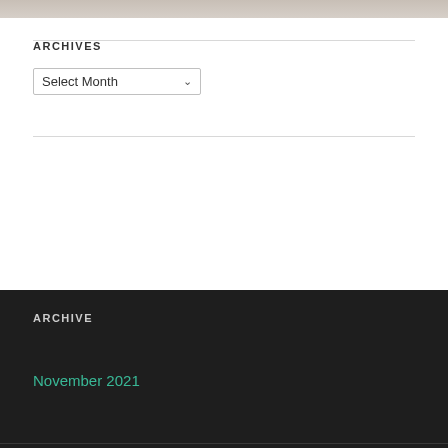[Figure (photo): Partial photo visible at top of page, showing light beige/cream fabric texture]
ARCHIVES
Select Month (dropdown)
RSS - Posts
ARCHIVE
November 2021